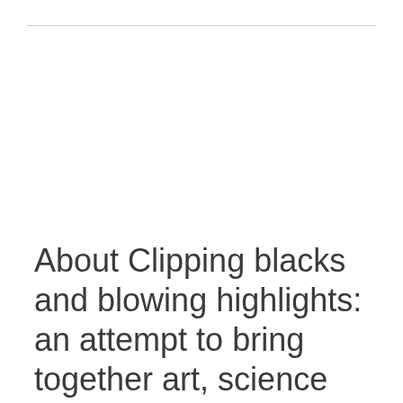About Clipping blacks and blowing highlights: an attempt to bring together art, science and discipline